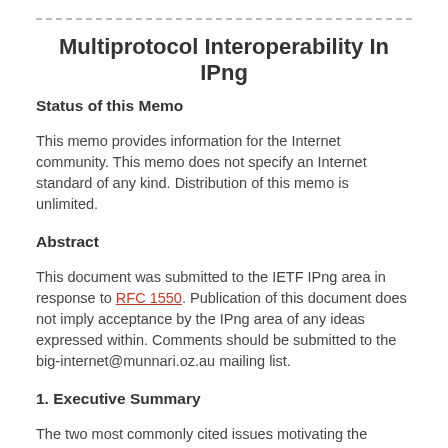Multiprotocol Interoperability In IPng
Status of this Memo
This memo provides information for the Internet community. This memo does not specify an Internet standard of any kind. Distribution of this memo is unlimited.
Abstract
This document was submitted to the IETF IPng area in response to RFC 1550. Publication of this document does not imply acceptance by the IPng area of any ideas expressed within. Comments should be submitted to the big-internet@munnari.oz.au mailing list.
1. Executive Summary
The two most commonly cited issues motivating the